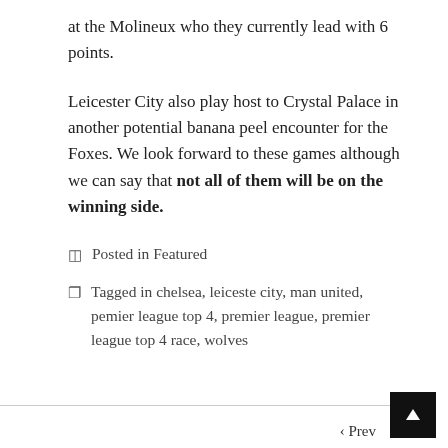at the Molineux who they currently lead with 6 points.
Leicester City also play host to Crystal Palace in another potential banana peel encounter for the Foxes. We look forward to these games although we can say that not all of them will be on the winning side.
Posted in Featured
Tagged in chelsea, leiceste city, man united, pemier league top 4, premier league, premier league top 4 race, wolves